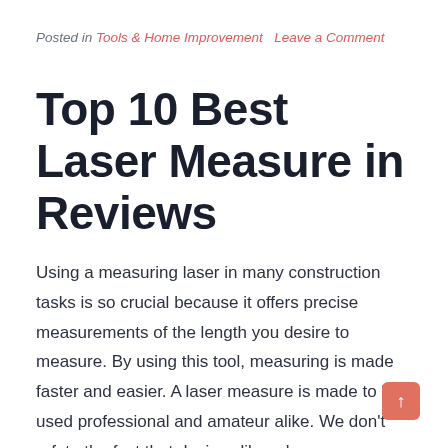Posted in Tools & Home Improvement   Leave a Comment
Top 10 Best Laser Measure in Reviews
Using a measuring laser in many construction tasks is so crucial because it offers precise measurements of the length you desire to measure. By using this tool, measuring is made faster and easier. A laser measure is made to be used professional and amateur alike. We don't refute the fact that devices like rulers, squares, [...]